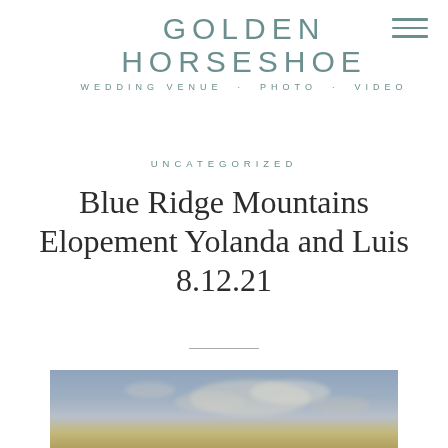GOLDEN HORSESHOE
WEDDING VENUE · PHOTO · VIDEO
UNCATEGORIZED
Blue Ridge Mountains Elopement Yolanda and Luis 8.12.21
[Figure (photo): Sky photo with clouds, blue and golden tones, partially visible at the bottom of the page]